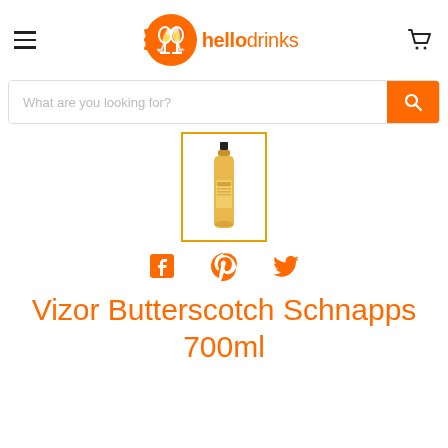[Figure (logo): hellodrinks logo with orange icon and text]
[Figure (screenshot): Search bar with placeholder text 'What are you looking for?' and orange search button]
[Figure (photo): Thumbnail image of Vizor Butterscotch Schnapps 700ml bottle with orange border]
[Figure (infographic): Social sharing icons: Facebook, Pinterest, Twitter in orange]
Vizor Butterscotch Schnapps 700ml